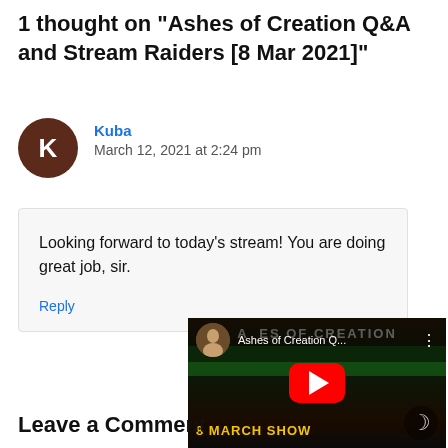1 thought on "Ashes of Creation Q&A and Stream Raiders [8 Mar 2021]"
Kuba
March 12, 2021 at 2:24 pm
Looking forward to today's stream! You are doing great job, sir.
Reply
[Figure (screenshot): YouTube video embed thumbnail for 'Ashes of Creation Q...' showing a play button, dark fantasy background, and '8 MARCH SHOW' text in yellow]
Leave a Comment